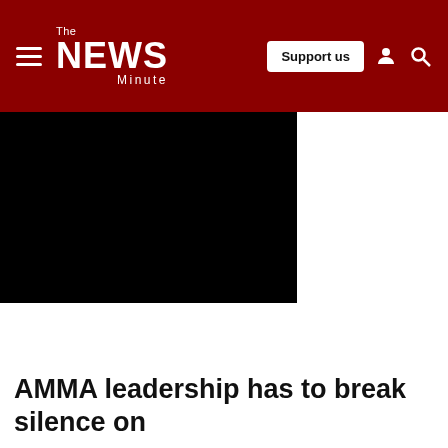The News Minute — Support us
[Figure (photo): Black image/video placeholder occupying the left portion below the header]
AMMA leadership has to break silence on